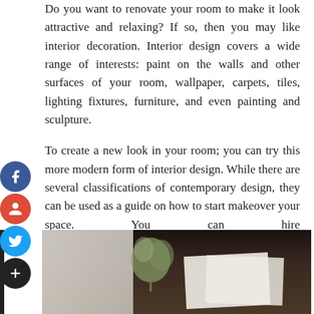Do you want to renovate your room to make it look attractive and relaxing? If so, then you may like interior decoration. Interior design covers a wide range of interests: paint on the walls and other surfaces of your room, wallpaper, carpets, tiles, lighting fixtures, furniture, and even painting and sculpture.
To create a new look in your room; you can try this more modern form of interior design. While there are several classifications of contemporary design, they can be used as a guide on how to start makeover your space. You can hire high tech interior decorator in NYC via akoapp.com/home/filter/interior-designers-in-new-york-ny.
[Figure (photo): Photo of an interior design space with a hanging plant, window frame with natural light, and papers/blueprints on a dark background]